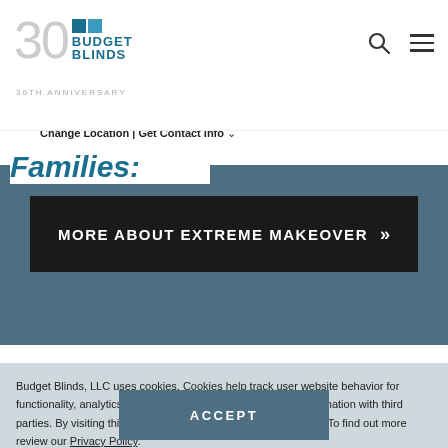[Figure (logo): Budget Blinds 30th Anniversary logo with '30' in large light gray numerals, blue squares icon, and BUDGET BLINDS brand text in blue. 30TH ANNIVERSARY text below.]
[Figure (infographic): Search icon (magnifying glass) and hamburger menu icon in top right header area.]
Erie
Change Location | Get Contact Info ∨
[Figure (infographic): Phone icon in top right near location bar.]
Families:
MORE ABOUT EXTREME MAKEOVER »
Budget Blinds, LLC uses cookies. Cookies help track user website behavior for functionality, analytics, and marketing and may share your information with third parties. By visiting this website you agree to our use of cookies. To find out more review our Privacy Policy.
ACCEPT